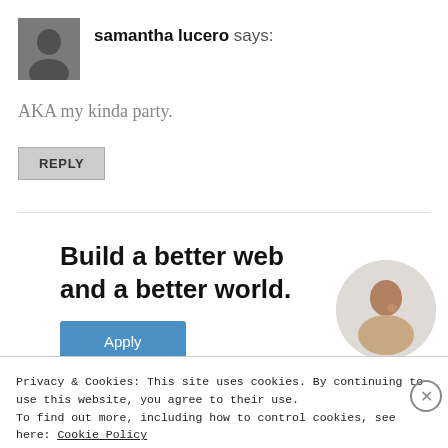[Figure (photo): Avatar photo of samantha lucero, black and white portrait]
samantha lucero says:
AKA my kinda party.
REPLY
[Figure (infographic): WordPress.com advertisement. Text reads 'Build a better web and a better world.' with an Apply button and a photo of a person thinking.]
Privacy & Cookies: This site uses cookies. By continuing to use this website, you agree to their use.
To find out more, including how to control cookies, see here: Cookie Policy
Close and accept